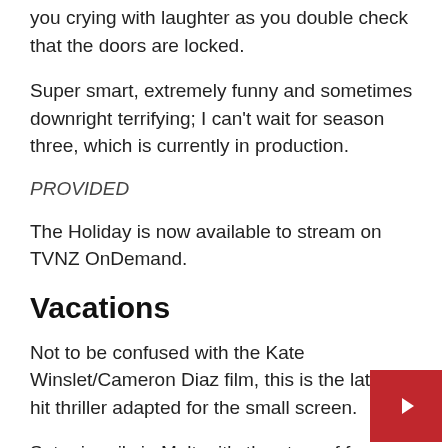you crying with laughter as you double check that the doors are locked.
Super smart, extremely funny and sometimes downright terrifying; I can't wait for season three, which is currently in production.
PROVIDED
The Holiday is now available to stream on TVNZ OnDemand.
Vacations
Not to be confused with the Kate Winslet/Cameron Diaz film, this is the latest hit thriller adapted for the small screen.
Set primarily in Malta, it's the story of four wo best friends since college, who now, 20 years la are all on vacation together, accompanied by their